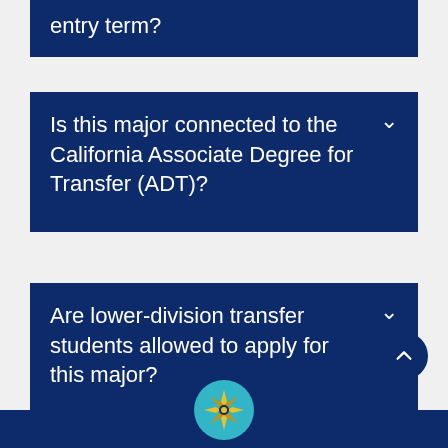entry term?
Is this major connected to the California Associate Degree for Transfer (ADT)?
Are lower-division transfer students allowed to apply for this major?
[Figure (logo): UC compass rose logo in teal and gold circle at the bottom center of the page]